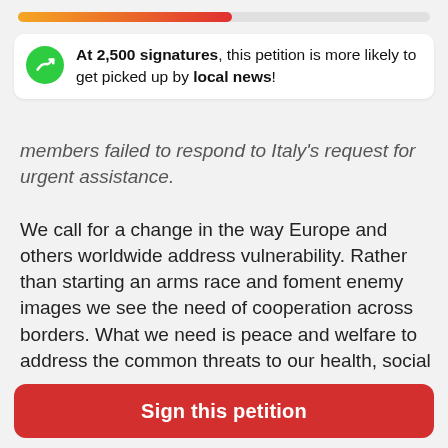[Figure (infographic): Progress bar gradient from orange to red showing partial completion]
At 2,500 signatures, this petition is more likely to get picked up by local news!
members failed to respond to Italy's request for urgent assistance.
We call for a change in the way Europe and others worldwide address vulnerability. Rather than starting an arms race and foment enemy images we see the need of cooperation across borders. What we need is peace and welfare to address the common threats to our health, social security and global environment. Not as Western State leaders at the Munich security conferences make China and Russia their adversary.
The large scale exercises bringing together tens of
Sign this petition